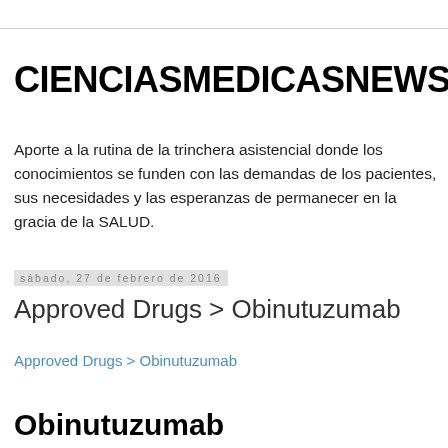CIENCIASMEDICASNEWS
Aporte a la rutina de la trinchera asistencial donde los conocimientos se funden con las demandas de los pacientes, sus necesidades y las esperanzas de permanecer en la gracia de la SALUD.
sábado, 27 de febrero de 2016
Approved Drugs > Obinutuzumab
Approved Drugs > Obinutuzumab
Obinutuzumab